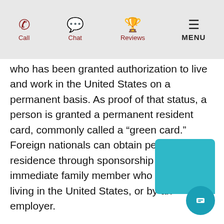Call  Chat  Reviews  MENU
who has been granted authorization to live and work in the United States on a permanent basis. As proof of that status, a person is granted a permanent resident card, commonly called a “green card.” Foreign nationals can obtain permanent residence through sponsorship by an immediate family member who is already living in the United States, or by an employer.
1. The first step in the permanent resident process is for a family member or sponsoring employer to file an immigrant petition with the United States Citizenship and